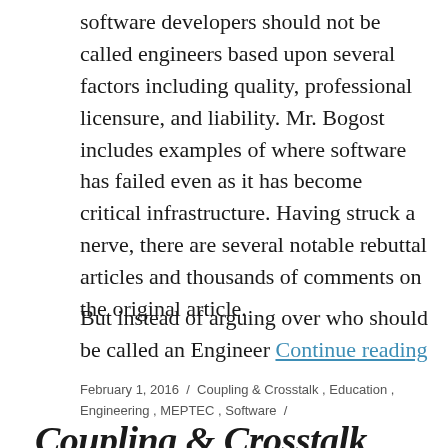software developers should not be called engineers based upon several factors including quality, professional licensure, and liability. Mr. Bogost includes examples of where software has failed even as it has become critical infrastructure. Having struck a nerve, there are several notable rebuttal articles and thousands of comments on the original article.
But instead of arguing over who should be called an Engineer Continue reading
February 1, 2016 / Coupling & Crosstalk, Education, Engineering, MEPTEC, Software /
Coupling & Crosstalk